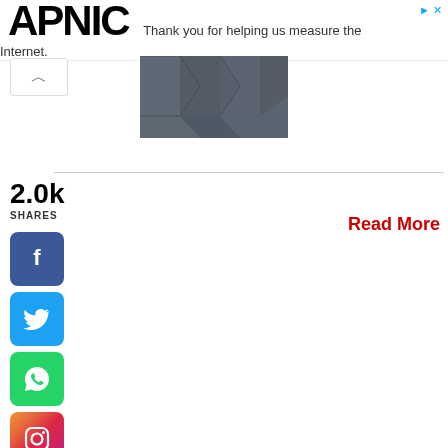APNIC — Thank you for helping us measure the Internet.
[Figure (photo): Dark gray hexagonal patterned surface, partial view]
2.0k
SHARES
Read More
[Figure (other): Facebook share button — blue rounded square with white 'f' icon]
[Figure (other): Twitter share button — cyan rounded square with white bird icon]
[Figure (other): WhatsApp share button — green rounded square with white phone/chat icon]
[Figure (other): Instagram share button — gradient pink/orange rounded square with white camera icon]